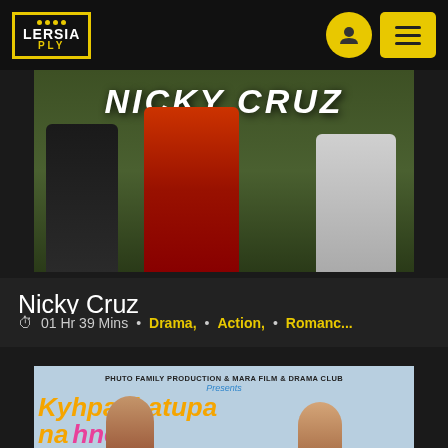[Figure (screenshot): Lersia Play streaming platform logo — black box with yellow border, white text LERSIA and yellow text PLY with yellow dots]
[Figure (screenshot): Movie thumbnail for Nicky Cruz showing people standing outdoors with the title NICKY CRUZ in white text overlay]
Nicky Cruz
01 Hr 39 Mins  •  Drama,  •  Action,  •  Romanc...
[Figure (screenshot): Partially visible movie poster for Kyhpachatupa na hnei by Phuto Family Production & Mara Film & Drama Club, showing large yellow and pink title text and two faces at the bottom]
PHUTO FAMILY PRODUCTION & MARA FILM & DRAMA CLUB
Presents
Kyhpachatupa na hnei